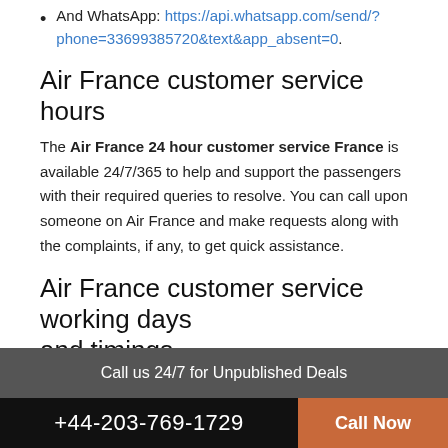And WhatsApp: https://api.whatsapp.com/send/?phone=33699385720&text&app_absent=0.
Air France customer service hours
The Air France 24 hour customer service France is available 24/7/365 to help and support the passengers with their required queries to resolve. You can call upon someone on Air France and make requests along with the complaints, if any, to get quick assistance.
Air France customer service working days and timings
Call us 24/7 for Unpublished Deals
+44-203-769-1729  Call Now